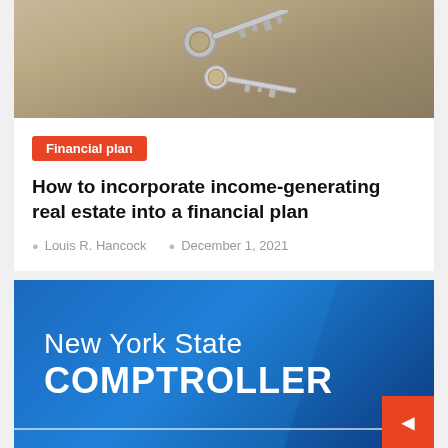[Figure (photo): Photo of keys on a wooden surface, suggesting real estate/home keys]
Financial plan
How to incorporate income-generating real estate into a financial plan
Louis R. Hancock   December 1, 2021
[Figure (logo): New York State Comptroller banner — blue background with white text reading 'New York State COMPTROLLER']